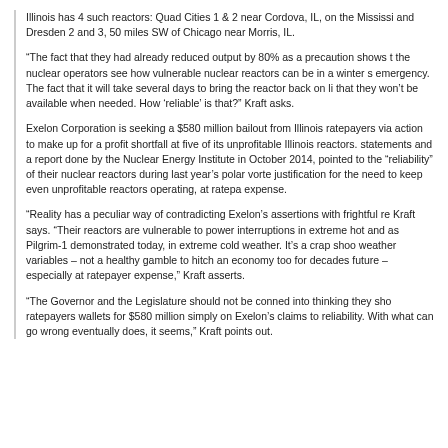Illinois has 4 such reactors: Quad Cities 1 & 2 near Cordova, IL, on the Mississippi, and Dresden 2 and 3, 50 miles SW of Chicago near Morris, IL.
“The fact that they had already reduced output by 80% as a precaution shows that the nuclear operators see how vulnerable nuclear reactors can be in a winter storm emergency. The fact that it will take several days to bring the reactor back on line means that they won’t be available when needed. How ‘reliable’ is that?” Kraft asks.
Exelon Corporation is seeking a $580 million bailout from Illinois ratepayers via legislative action to make up for a profit shortfall at five of its unprofitable Illinois reactors. In statements and a report done by the Nuclear Energy Institute in October 2014, Exelon pointed to the “reliability” of their nuclear reactors during last year’s polar vortex as justification for the need to keep even unprofitable reactors operating, at ratepayer expense.
“Reality has a peculiar way of contradicting Exelon’s assertions with frightful regularity,” Kraft says. “Their reactors are vulnerable to power interruptions in extreme hot weather, and as Pilgrim-1 demonstrated today, in extreme cold weather. It’s a crap shoot on weather variables – not a healthy gamble to hitch an economy too for decades into the future – especially at ratepayer expense,” Kraft asserts.
“The Governor and the Legislature should not be conned into thinking they should open ratepayers wallets for $580 million simply on Exelon’s claims to reliability. With nuclear, what can go wrong eventually does, it seems,” Kraft points out.